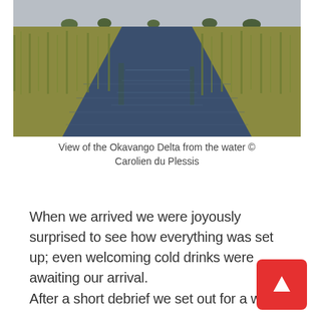[Figure (photo): Aerial/water-level view of the Okavango Delta showing a channel of dark blue water cutting through golden-green reeds and grasses, with trees visible on the horizon under a grey sky.]
View of the Okavango Delta from the water © Carolien du Plessis
When we arrived we were joyously surprised to see how everything was set up; even welcoming cold drinks were awaiting our arrival.
After a short debrief we set out for a walk on